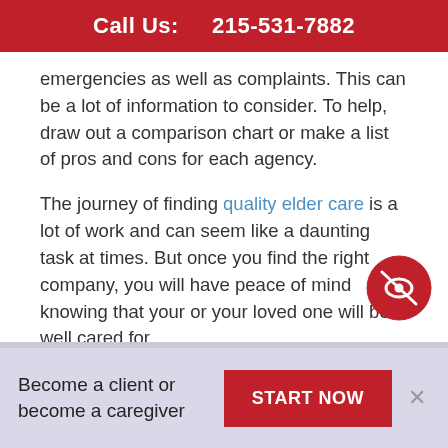Call Us:   215-531-7882
emergencies as well as complaints. This can be a lot of information to consider. To help, draw out a comparison chart or make a list of pros and cons for each agency.
The journey of finding quality elder care is a lot of work and can seem like a daunting task at times. But once you find the right company, you will have peace of mind knowing that your or your loved one will be well cared for.
Share this post:
Become a client or become a caregiver
START NOW